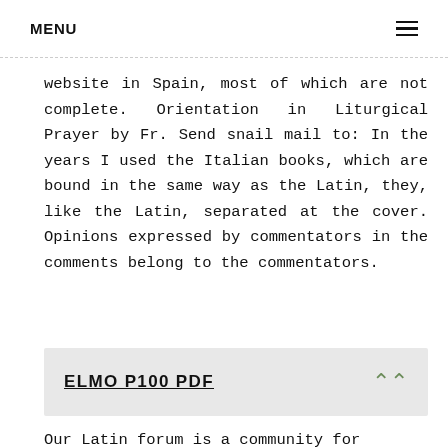MENU
website in Spain, most of which are not complete. Orientation in Liturgical Prayer by Fr. Send snail mail to: In the years I used the Italian books, which are bound in the same way as the Latin, they, like the Latin, separated at the cover. Opinions expressed by commentators in the comments belong to the commentators.
ELMO P100 PDF
Our Latin forum is a community for